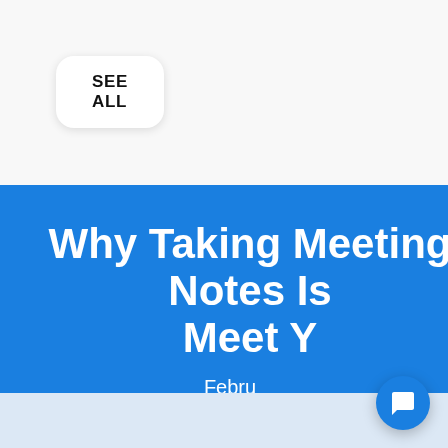SEE ALL
Why Taking Meeting Notes Is Meet Y
Febru
[Figure (screenshot): Chat popup widget with avatar, message text, and link to https://help.adam.ai. Contains: 'Is anything on your mind? Let's have a chat! Or check out our help center to learn more: https://help.adam.ai']
[Figure (screenshot): Blue circular chat bubble icon at bottom right corner]